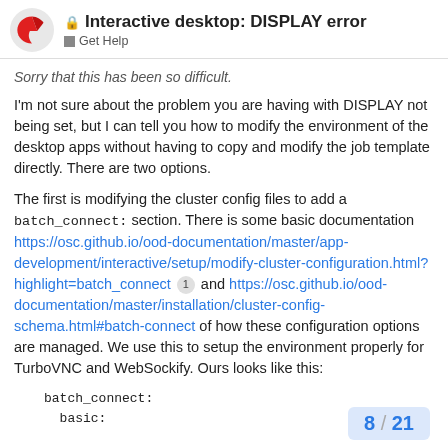Interactive desktop: DISPLAY error — Get Help
Sorry that this has been so difficult.
I'm not sure about the problem you are having with DISPLAY not being set, but I can tell you how to modify the environment of the desktop apps without having to copy and modify the job template directly. There are two options.
The first is modifying the cluster config files to add a batch_connect: section. There is some basic documentation https://osc.github.io/ood-documentation/master/app-development/interactive/setup/modify-cluster-configuration.html?highlight=batch_connect 1 and https://osc.github.io/ood-documentation/master/installation/cluster-config-schema.html#batch-connect of how these configuration options are managed. We use this to setup the environment properly for TurboVNC and WebSockify. Ours looks like this:
batch_connect:
  basic:
8 / 21